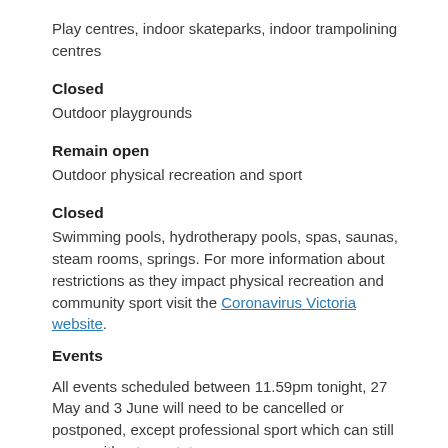Play centres, indoor skateparks, indoor trampolining centres
Closed
Outdoor playgrounds
Remain open
Outdoor physical recreation and sport
Closed
Swimming pools, hydrotherapy pools, spas, saunas, steam rooms, springs. For more information about restrictions as they impact physical recreation and community sport visit the Coronavirus Victoria website.
Events
All events scheduled between 11.59pm tonight, 27 May and 3 June will need to be cancelled or postponed, except professional sport which can still occur without spectators.